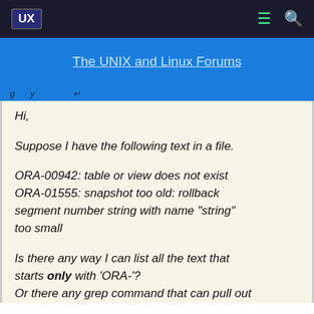UX  ☰  🔍
The UNIX and Linux Forums
Hi,
Suppose I have the following text in a file.
ORA-00942: table or view does not exist
ORA-01555: snapshot too old: rollback segment number string with name "string" too small
Is there any way I can list all the text that starts only with 'ORA-'?
Or there any grep command that can pull out